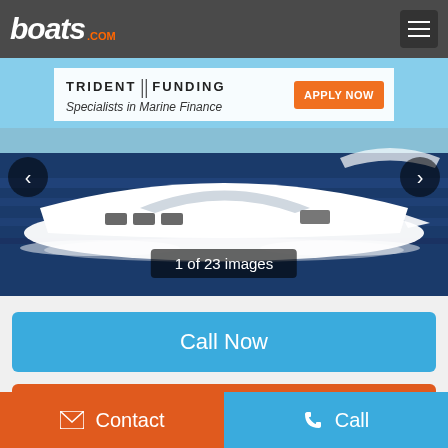[Figure (screenshot): boats.com navigation bar with logo and hamburger menu]
[Figure (photo): Trident Funding advertisement banner with Apply Now button overlaid on a large white yacht/speedboat cruising on ocean water. Slider navigation with left/right arrows and '1 of 23 images' counter.]
Call Now
Send Email
Contact
Call